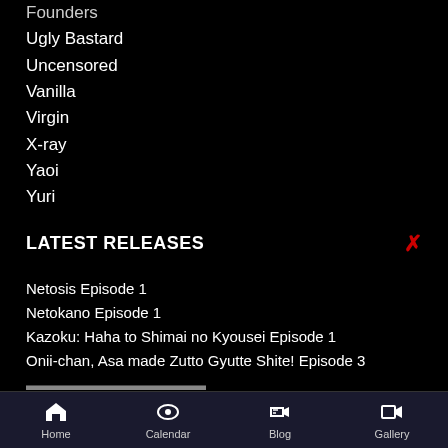Founders
Ugly Bastard
Uncensored
Vanilla
Virgin
X-ray
Yaoi
Yuri
LATEST RELEASES
Netosis Episode 1
Netokano Episode 1
Kazoku: Haha to Shimai no Kyousei Episode 1
Onii-chan, Asa made Zutto Gyutte Shite! Episode 3
Home  Calendar  Blog  Gallery